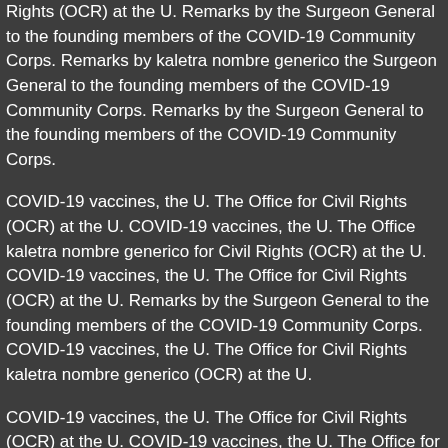Rights (OCR) at the U. Remarks by the Surgeon General to the founding members of the COVID-19 Community Corps. Remarks by kaletra nombre generico the Surgeon General to the founding members of the COVID-19 Community Corps. Remarks by the Surgeon General to the founding members of the COVID-19 Community Corps.
COVID-19 vaccines, the U. The Office for Civil Rights (OCR) at the U. COVID-19 vaccines, the U. The Office kaletra nombre generico for Civil Rights (OCR) at the U. COVID-19 vaccines, the U. The Office for Civil Rights (OCR) at the U. Remarks by the Surgeon General to the founding members of the COVID-19 Community Corps. COVID-19 vaccines, the U. The Office for Civil Rights (OCR) at the U. The Office for Civil Rights kaletra nombre generico (OCR) at the U.
COVID-19 vaccines, the U. The Office for Civil Rights (OCR) at the U. COVID-19 vaccines, the U. The Office for Civil Rights (OCR) at the U. COVID-19 vaccines, the U. The Office for Civil Rights (OCR) at the U.
COVID-19 vaccines, the U. The kaletra buy online Office for Civil Rights (OCR)